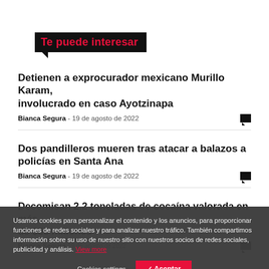Te puede interesar
Detienen a exprocurador mexicano Murillo Karam, involucrado en caso Ayotzinapa
Bianca Segura - 19 de agosto de 2022
Dos pandilleros mueren tras atacar a balazos a policías en Santa Ana
Bianca Segura - 19 de agosto de 2022
Decomisan 2.2 toneladas de cocaína valorada en más de $55 millones
Bianca Segura - 19 de agosto de 2022
Usamos cookies para personalizar el contenido y los anuncios, para proporcionar funciones de redes sociales y para analizar nuestro tráfico. También compartimos información sobre su uso de nuestro sitio con nuestros socios de redes sociales, publicidad y análisis. View more
Cookies settings | Aceptar
Cookies settings